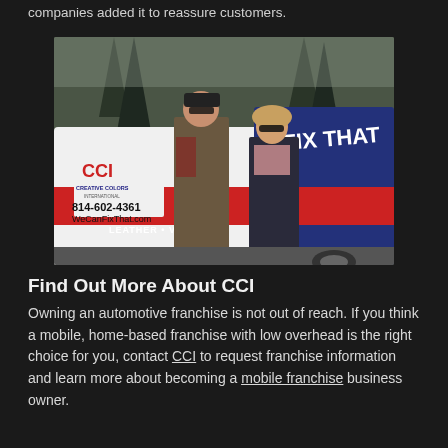companies added it to reassure customers.
[Figure (photo): A man and a woman standing in front of a Creative Colors International branded van. The van displays '814-602-4361', 'WeCanFixThat.com', 'LEATHER • VINYL', and 'WE CAN FIX THAT' text. The van is white, red, and navy blue.]
Find Out More About CCI
Owning an automotive franchise is not out of reach. If you think a mobile, home-based franchise with low overhead is the right choice for you, contact CCI to request franchise information and learn more about becoming a mobile franchise business owner.